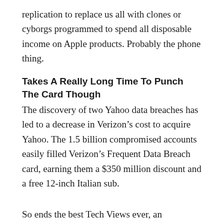replication to replace us all with clones or cyborgs programmed to spend all disposable income on Apple products. Probably the phone thing.
Takes A Really Long Time To Punch The Card Though
The discovery of two Yahoo data breaches has led to a decrease in Verizon’s cost to acquire Yahoo. The 1.5 billion compromised accounts easily filled Verizon’s Frequent Data Breach card, earning them a $350 million discount and a free 12-inch Italian sub.
So ends the best Tech Views ever, an accomplishment we couldn’t be more proud–
Sorry, wrong envelope. Turns out that distinction goes to an issue from October of 2015. Guess we’ll go drown our sorrows at the Vanity Fair Tech Views party.